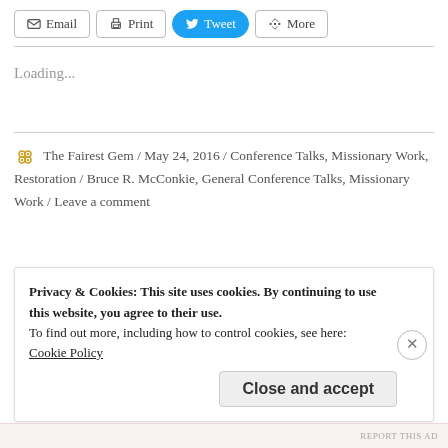[Figure (other): Toolbar with Email, Print, Tweet, and More share buttons]
Loading...
The Fairest Gem / May 24, 2016 / Conference Talks, Missionary Work, Restoration / Bruce R. McConkie, General Conference Talks, Missionary Work / Leave a comment
Privacy & Cookies: This site uses cookies. By continuing to use this website, you agree to their use.
To find out more, including how to control cookies, see here:
Cookie Policy
Close and accept